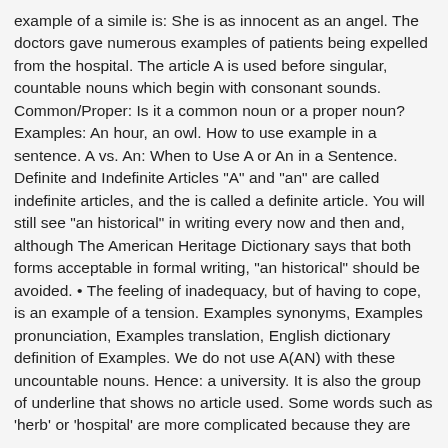example of a simile is: She is as innocent as an angel. The doctors gave numerous examples of patients being expelled from the hospital. The article A is used before singular, countable nouns which begin with consonant sounds. Common/Proper: Is it a common noun or a proper noun? Examples: An hour, an owl. How to use example in a sentence. A vs. An: When to Use A or An in a Sentence. Definite and Indefinite Articles "A" and "an" are called indefinite articles, and the is called a definite article. You will still see "an historical" in writing every now and then and, although The American Heritage Dictionary says that both forms acceptable in formal writing, "an historical" should be avoided. • The feeling of inadequacy, but of having to cope, is an example of a tension. Examples synonyms, Examples pronunciation, Examples translation, English dictionary definition of Examples. We do not use A(AN) with these uncountable nouns. Hence: a university. It is also the group of underline that shows no article used. Some words such as 'herb' or 'hospital' are more complicated because they are